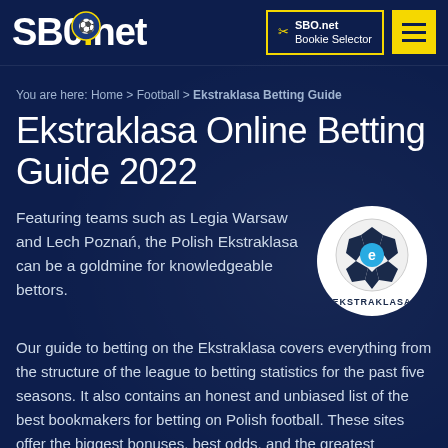SBO.net | SBO.net Bookie Selector
You are here: Home > Football > Ekstraklasa Betting Guide
Ekstraklasa Online Betting Guide 2022
[Figure (logo): Ekstraklasa league logo — white circle with black and blue football and an 'e' emblem, with text EKSTRAKLASA below]
Featuring teams such as Legia Warsaw and Lech Poznań, the Polish Ekstraklasa can be a goldmine for knowledgeable bettors.
Our guide to betting on the Ekstraklasa covers everything from the structure of the league to betting statistics for the past five seasons. It also contains an honest and unbiased list of the best bookmakers for betting on Polish football. These sites offer the biggest bonuses, best odds, and the greatest selection of betting